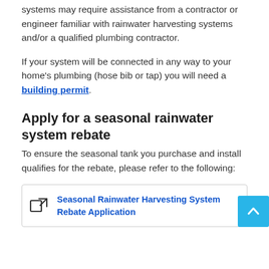systems may require assistance from a contractor or engineer familiar with rainwater harvesting systems and/or a qualified plumbing contractor.
If your system will be connected in any way to your home's plumbing (hose bib or tap) you will need a building permit.
Apply for a seasonal rainwater system rebate
To ensure the seasonal tank you purchase and install qualifies for the rebate, please refer to the following:
Seasonal Rainwater Harvesting System Rebate Application